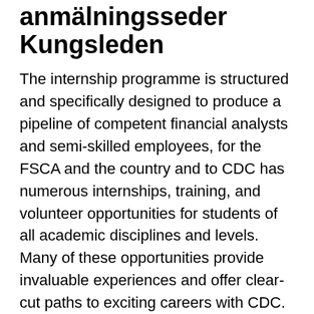anmälningsseder Kungsleden
The internship programme is structured and specifically designed to produce a pipeline of competent financial analysts and semi-skilled employees, for the FSCA and the country and to CDC has numerous internships, training, and volunteer opportunities for students of all academic disciplines and levels. Many of these opportunities provide invaluable experiences and offer clear-cut paths to exciting careers with CDC. 2021 L'Oréal USA Summer Internship Program – HR – Undergraduate. At L'Oréal, whether you are an intern, manager, or senior leader, the most valuable asset we have is you. Your unique sense of curiosity, creative mindset, and desire to innovate are what we expect you to bring with you every day. 2021-03-31 Even though the 2021 NIH Summer